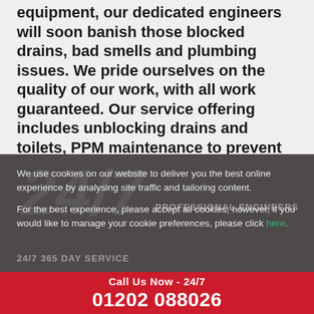equipment, our dedicated engineers will soon banish those blocked drains, bad smells and plumbing issues. We pride ourselves on the quality of our work, with all work guaranteed. Our service offering includes unblocking drains and toilets, PPM maintenance to prevent problems from initially occurring, right through to services such as drain mapping, pre-purchase reports and leaking taps.
We use cookies on our website to deliver you the best online experience by analysing site traffic and tailoring content.
For the best experience, please accept all cookies; however, if you would like to manage your cookie preferences, please click here.
PROFESSIONAL ENGINEERS
24/7 365 DAY SERVICE
Call Us Now - 24/7 01202 088026